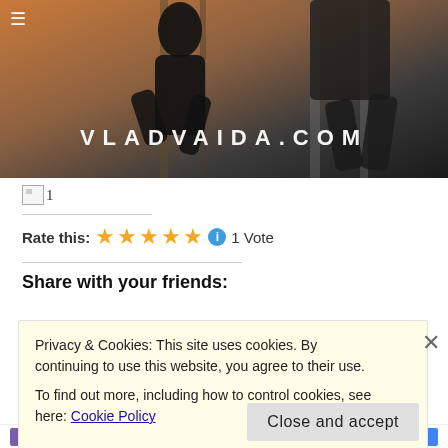[Figure (photo): Hero banner image showing a person running/jumping in dark clothing against a blurred background, with text VLADVAIDA.COM overlaid in white spaced letters]
1
Rate this: ★★★★★ ⓘ 1 Vote
Share with your friends:
Privacy & Cookies: This site uses cookies. By continuing to use this website, you agree to their use.
To find out more, including how to control cookies, see here: Cookie Policy
Close and accept